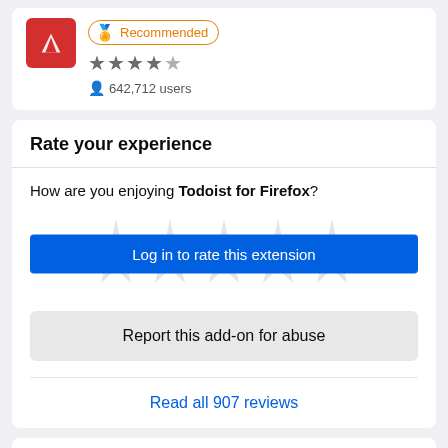[Figure (screenshot): Top card showing add-on icon (red), Recommended badge, star rating (~3.5 stars), and 642,712 users]
Rate your experience
How are you enjoying Todoist for Firefox?
[Figure (other): Ghost star rating icons with blue 'Log in to rate this extension' button overlaid]
Report this add-on for abuse
Read all 907 reviews
Permissions
Learn more
This add-on needs to: